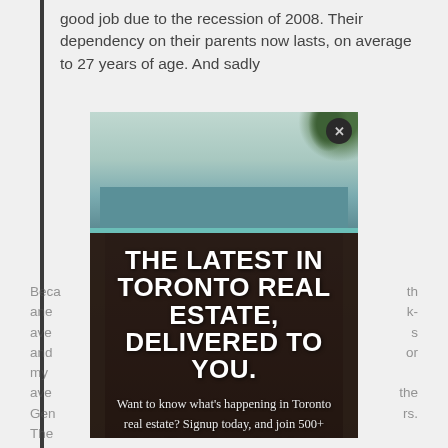good job due to the recession of 2008. Their dependency on their parents now lasts, on average to 27 years of age. And sadly
Because ... and ... average ... and ... for my ... average ... the Gen ... ers. They ... elde...
[Figure (photo): A popup/modal overlay showing a building photo with bold text headline 'THE LATEST IN TORONTO REAL ESTATE, DELIVERED TO YOU.' and subtext inviting signup, with a close button (X) in the top right corner.]